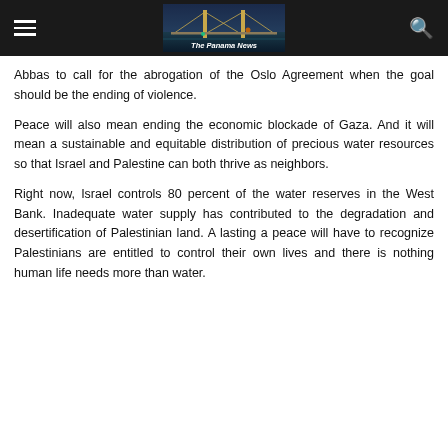The Panama News
Abbas to call for the abrogation of the Oslo Agreement when the goal should be the ending of violence.
Peace will also mean ending the economic blockade of Gaza. And it will mean a sustainable and equitable distribution of precious water resources so that Israel and Palestine can both thrive as neighbors.
Right now, Israel controls 80 percent of the water reserves in the West Bank. Inadequate water supply has contributed to the degradation and desertification of Palestinian land. A lasting a peace will have to recognize Palestinians are entitled to control their own lives and there is nothing human life needs more than water.